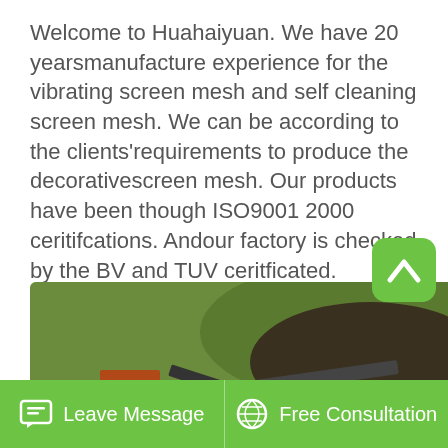Welcome to Huahaiyuan. We have 20 yearsmanufacture experience for the vibrating screen mesh and self cleaning screen mesh. We can be according to the clients'requirements to produce the decorativescreen mesh. Our products have been though ISO9001 2000 ceritifcations. Andour factory is checked by the BV and TUV ceritficated.
[Figure (photo): Industrial mining/quarrying equipment with orange conveyor belts and screening machinery on a dirt site with green hills in the background]
Leave Message   Free Consultation